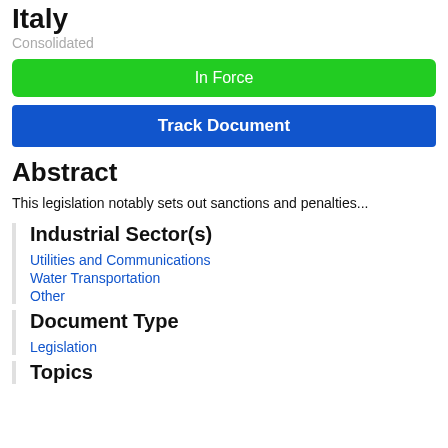Italy
Consolidated
In Force
Track Document
Abstract
This legislation notably sets out sanctions and penalties...
Industrial Sector(s)
Utilities and Communications
Water Transportation
Other
Document Type
Legislation
Topics